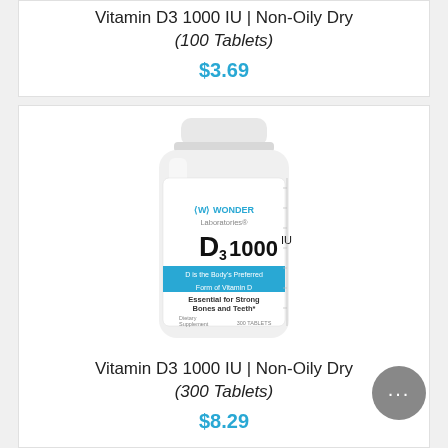Vitamin D3 1000 IU | Non-Oily Dry (100 Tablets)
$3.69
[Figure (photo): White pill bottle with Wonder Laboratories label showing D3 1000 IU, Non-Oily Dry, 300 Tablets]
Vitamin D3 1000 IU | Non-Oily Dry (300 Tablets)
$8.29
[Figure (photo): Partial view of another white pill bottle at the bottom of the page]
[Figure (other): Chat support button overlay (speech bubble with three dots)]